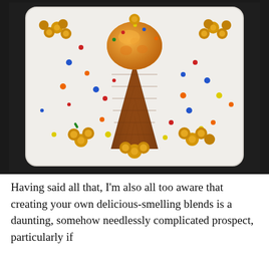[Figure (photo): A rectangular white-iced cake decorated with an ice cream cone motif in the center — a brown chocolate wafer cone with an orange/yellow ice cream scoop on top, decorated with colorful rainbow sprinkle dots. Around the edges of the cake are piped golden rosette decorations. The cake sits on a dark granite surface.]
Having said all that, I'm also all too aware that creating your own delicious-smelling blends is a daunting, somehow needlessly complicated prospect, particularly if